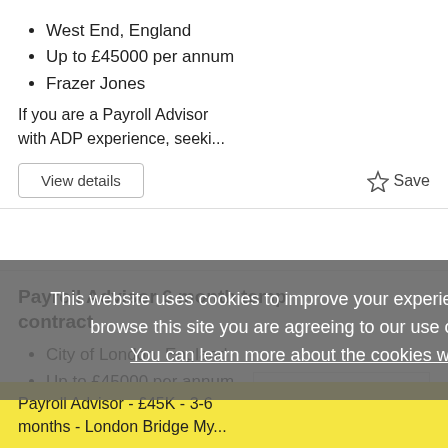West End, England
Up to £45000 per annum
Frazer Jones
If you are a Payroll Advisor with ADP experience, seeki...
[Figure (logo): Frazer Jones company logo with green vertical bar and black text]
View details
☆ Save
Payroll Advisor 6 month temp contract
City of London, England
Up to £45000 per annum
Frazer Jones
[Figure (logo): Frazer Jones company logo with green vertical bar and black text]
Payroll Advisor - £45K - 3-6 months - London Bridge My...
This website uses cookies to improve your experience. By continuing to browse this site you are agreeing to our use of these cookies. You can learn more about the cookies we use here.